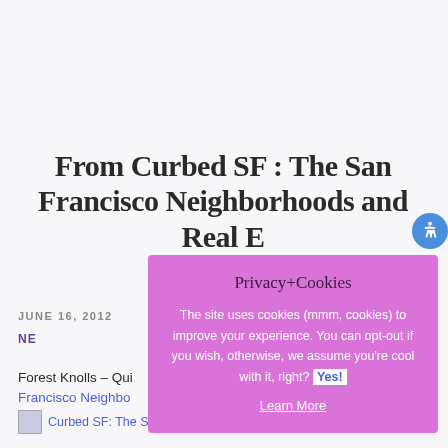From Curbed SF : The San Francisco Neighborhoods and Real Estate
JUNE 16, 2012
NEIGHBORHOODS
Forest Knolls – Qui... Francisco Neighbor...
[Figure (screenshot): Privacy+Cookies modal overlay with purple/magenta background. Title: Privacy+Cookies. Body text: The site uses cookies (mmm, cookies) to improve your experience. You can opt-out if you wish, otherwise, we assume you're cool with it, right? Yes! Learn More link.]